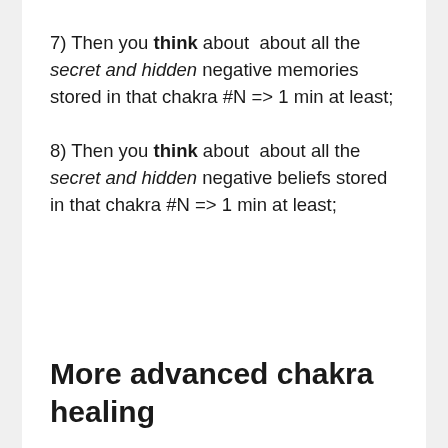7) Then you think about about all the secret and hidden negative memories stored in that chakra #N => 1 min at least;
8) Then you think about about all the secret and hidden negative beliefs stored in that chakra #N => 1 min at least;
More advanced chakra healing